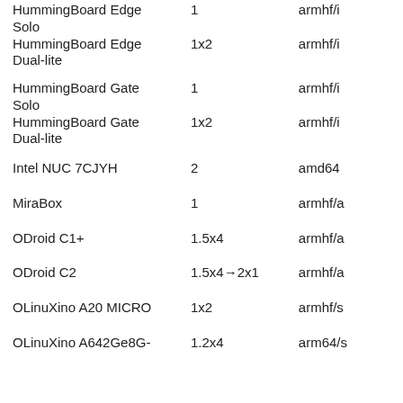| Device | Cores | Architecture |
| --- | --- | --- |
| HummingBoard Edge Solo | 1 | armhf/i… |
| HummingBoard Edge Dual-lite | 1x2 | armhf/i… |
| HummingBoard Gate Solo | 1 | armhf/i… |
| HummingBoard Gate Dual-lite | 1x2 | armhf/i… |
| Intel NUC 7CJYH | 2 | amd64 |
| MiraBox | 1 | armhf/a… |
| ODroid C1+ | 1.5x4 | armhf/a… |
| ODroid C2 | 1.5x4→2x1 | armhf/a… |
| OLinuXino A20 MICRO | 1x2 | armhf/s… |
| OLinuXino A642Ge8G- | 1.2x4 | arm64/s… |